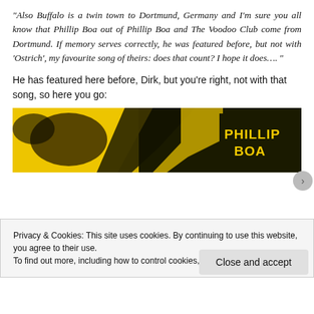“Also Buffalo is a twin town to Dortmund, Germany and I’m sure you all know that Phillip Boa out of Phillip Boa and The Voodoo Club come from Dortmund. If memory serves correctly, he was featured before, but not with ‘Ostrich’, my favourite song of theirs: does that count? I hope it does….”
He has featured here before, Dirk, but you’re right, not with that song, so here you go:
[Figure (photo): A yellow and black graphic image showing 'PHILLIP BOA' text in bold yellow letters on a dark background, partial album/single artwork]
Privacy & Cookies: This site uses cookies. By continuing to use this website, you agree to their use.
To find out more, including how to control cookies, see here: Cookie Policy
Close and accept